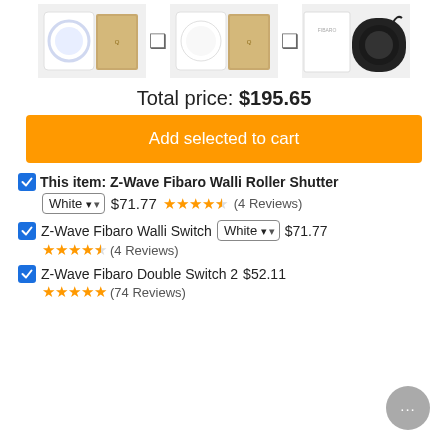[Figure (photo): Three product images side by side: two white Z-Wave Fibaro Walli devices with boxes and one black device with box, separated by navigation arrows]
Total price: $195.65
Add selected to cart
This item: Z-Wave Fibaro Walli Roller Shutter — White — $71.77 — 4.5 stars (4 Reviews)
Z-Wave Fibaro Walli Switch — White — $71.77 — 4.5 stars (4 Reviews)
Z-Wave Fibaro Double Switch 2 — $52.11 — 5 stars (74 Reviews)